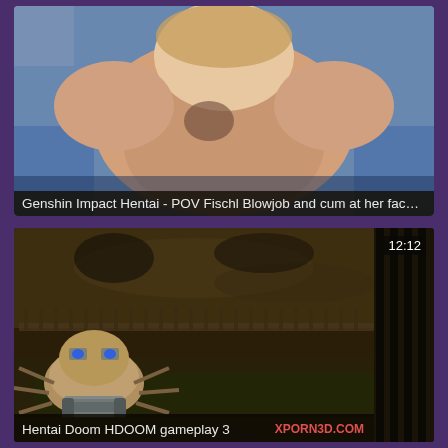[Figure (screenshot): Video thumbnail showing 3D animated character from above, skin-toned scene with blue background, from Genshin Impact hentai video]
Genshin Impact Hentai - POV Fischl Blowjob and cum at her face ...
[Figure (screenshot): Video thumbnail of Doom-style game (HDOOM) showing spider mastermind enemy in dark dungeon environment, duration 12:12 in top right corner]
Hentai Doom HDOOM gameplay 3